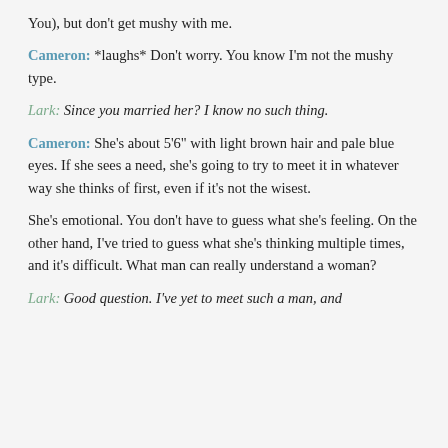You), but don't get mushy with me.
Cameron: *laughs* Don't worry. You know I'm not the mushy type.
Lark: Since you married her? I know no such thing.
Cameron: She's about 5'6" with light brown hair and pale blue eyes. If she sees a need, she's going to try to meet it in whatever way she thinks of first, even if it's not the wisest.
She's emotional. You don't have to guess what she's feeling. On the other hand, I've tried to guess what she's thinking multiple times, and it's difficult. What man can really understand a woman?
Lark: Good question. I've yet to meet such a man, and